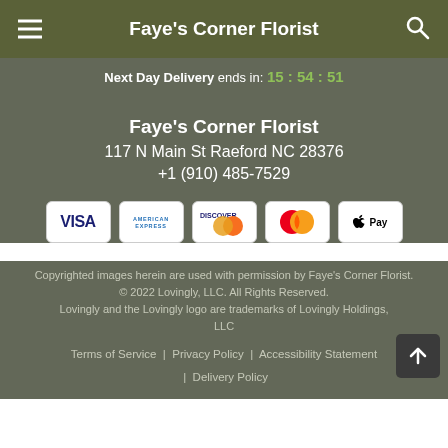Faye's Corner Florist
Next Day Delivery ends in: 15 : 54 : 51
Faye's Corner Florist
117 N Main St Raeford NC 28376
+1 (910) 485-7529
[Figure (other): Payment method icons: Visa, American Express, Discover, Mastercard, Apple Pay]
Copyrighted images herein are used with permission by Faye's Corner Florist. © 2022 Lovingly, LLC. All Rights Reserved. Lovingly and the Lovingly logo are trademarks of Lovingly Holdings, LLC
Terms of Service | Privacy Policy | Accessibility Statement | Delivery Policy